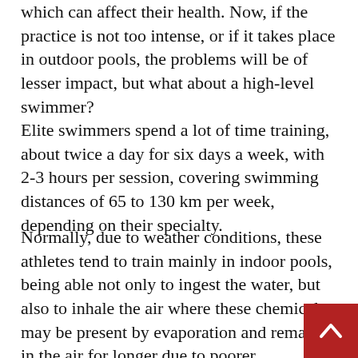which can affect their health. Now, if the practice is not too intense, or if it takes place in outdoor pools, the problems will be of lesser impact, but what about a high-level swimmer?
Elite swimmers spend a lot of time training, about twice a day for six days a week, with 2-3 hours per session, covering swimming distances of 65 to 130 km per week, depending on their specialty.
Normally, due to weather conditions, these athletes tend to train mainly in indoor pools, being able not only to ingest the water, but also to inhale the air where these chemicals may be present by evaporation and remain in the air for longer due to poorer ventilation. These disinfection by-products can affect your health and performance, as among other things it may mean that at times you have to reduce your